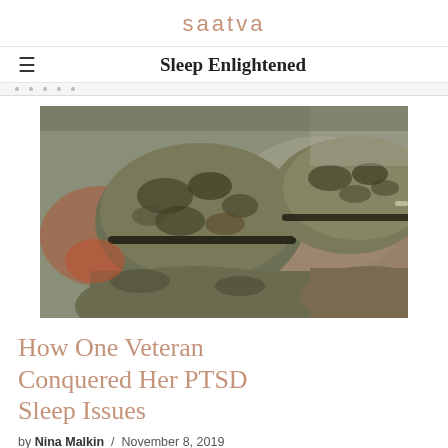saatva
Sleep Enlightened
[Figure (photo): Close-up photo of military soldiers wearing camouflage helmets, viewed from behind, in a military setting with blurred background.]
How One Veteran Conquered Her PTSD Sleep Issues
by Nina Malkin  /  November 8, 2019